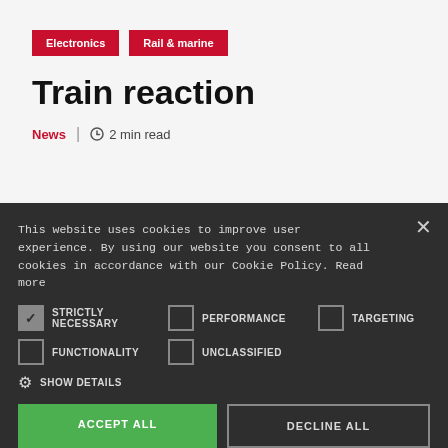Electronics
Rail & marine
Train reaction
News | 2 min read
This website uses cookies to improve user experience. By using our website you consent to all cookies in accordance with our Cookie Policy. Read more
STRICTLY NECESSARY  PERFORMANCE  TARGETING  FUNCTIONALITY  UNCLASSIFIED  SHOW DETAILS  ACCEPT ALL  DECLINE ALL